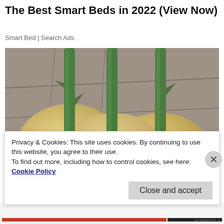The Best Smart Beds in 2022 (View Now)
Smart Bed | Search Ads
[Figure (photo): Three white/yellow round fruits or vegetables (possibly turnips or young potatoes) with green stems inserted through them, resting on a stone or concrete surface, photographed from above-front angle.]
Privacy & Cookies: This site uses cookies. By continuing to use this website, you agree to their use.
To find out more, including how to control cookies, see here:
Cookie Policy
Close and accept